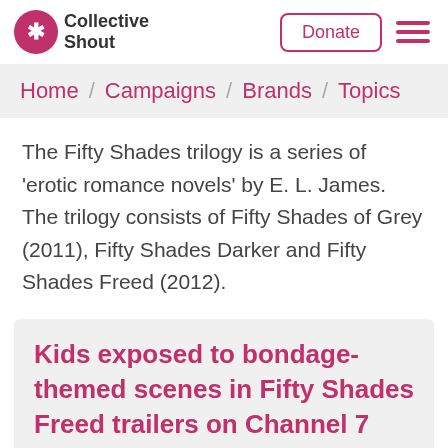Collective Shout — Donate / Menu
Home / Campaigns / Brands / Topics
The Fifty Shades trilogy is a series of 'erotic romance novels' by E. L. James. The trilogy consists of Fifty Shades of Grey (2011), Fifty Shades Darker and Fifty Shades Freed (2012).
Kids exposed to bondage-themed scenes in Fifty Shades Freed trailers on Channel 7 during Winter Olympics